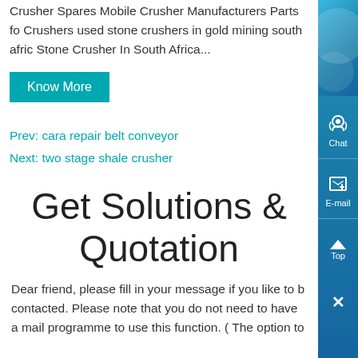Crusher Spares Mobile Crusher Manufacturers Parts for Crushers used stone crushers in gold mining south africa Stone Crusher In South Africa...
Know More
Prev: cara repair belt conveyor
Next: two stage shale crusher
Get Solutions & Quotation
Dear friend, please fill in your message if you like to be contacted. Please note that you do not need to have a mail programme to use this function. ( The option to